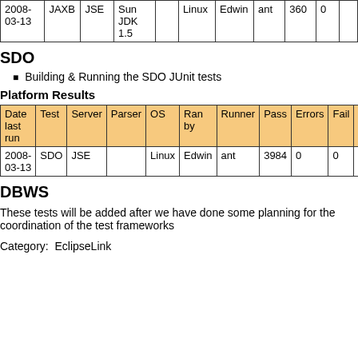| Date last run | Test | Server | Parser | OS | Ran by | Runner | Pass | Errors | Fail | W |
| --- | --- | --- | --- | --- | --- | --- | --- | --- | --- | --- |
| 2008-03-13 | JAXB | JSE | Sun JDK 1.5 |  | Linux | Edwin | ant | 360 | 0 |  |
SDO
Building & Running the SDO JUnit tests
Platform Results
| Date last run | Test | Server | Parser | OS | Ran by | Runner | Pass | Errors | Fail | W |
| --- | --- | --- | --- | --- | --- | --- | --- | --- | --- | --- |
| 2008-03-13 | SDO | JSE |  | Linux | Edwin | ant | 3984 | 0 | 0 | 0 |
DBWS
These tests will be added after we have done some planning for the coordination of the test frameworks
Category:  EclipseLink